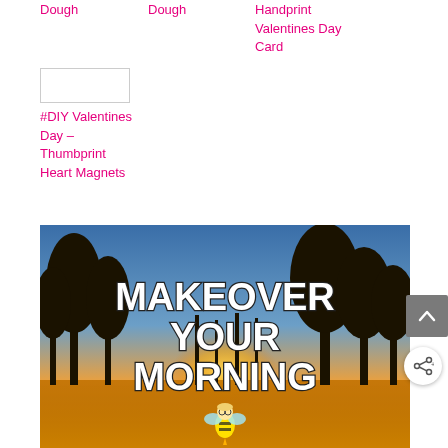Dough
Dough
Handprint Valentines Day Card
[Figure (other): Small thumbnail image placeholder with border]
#DIY Valentines Day – Thumbprint Heart Magnets
[Figure (photo): Sunrise/sunset scene with silhouetted trees, golden light, and text overlay reading MAKEOVER YOUR MORNING with a cartoon bee fairy character at the bottom center]